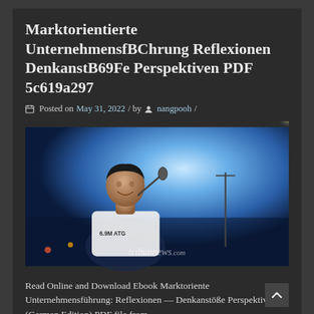Marktorientierte UnternehmensfBChrung Reflexionen DenkanstB69Fe Perspektiven PDF 5c619a297
Posted on May 31, 2022 / by  nangpooh /
[Figure (photo): A person singing into a microphone on a stage under blue stage lighting, wearing a white t-shirt. A watermark reading 'tribunnews.com' is visible in the lower center of the image.]
Read Online and Download Ebook Marktorientierte Unternehmensführung: Reflexionen — Denkanstöße Perspektiven (German Edition) PDF file from...